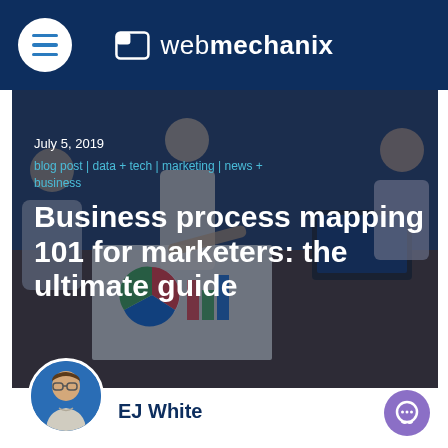webmechanix
[Figure (photo): Group of business people collaborating around a table with charts and a laptop, used as hero image background]
July 5, 2019
blog post | data + tech | marketing | news + business
Business process mapping 101 for marketers: the ultimate guide
[Figure (photo): Author avatar photo of EJ White, a man wearing glasses]
EJ White